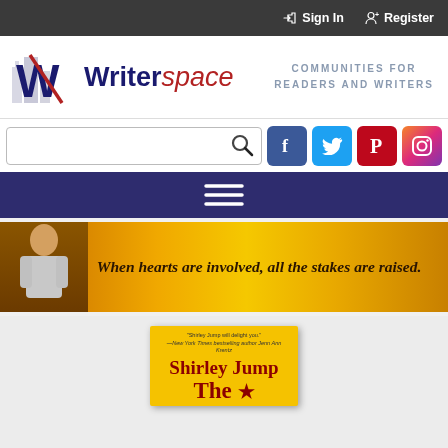Sign In   Register
[Figure (logo): Writerspace logo with stylized W and buildings, tagline: COMMUNITIES FOR READERS AND WRITERS]
[Figure (screenshot): Search bar with magnifying glass icon and social media icons: Facebook, Twitter, Pinterest, Instagram]
[Figure (infographic): Navigation bar with hamburger menu icon on dark blue background]
[Figure (photo): Golden banner with man silhouette on left and italic text: When hearts are involved, all the stakes are raised.]
[Figure (illustration): Partial book cover by Shirley Jump with yellow background, showing author name and partial title 'The...']